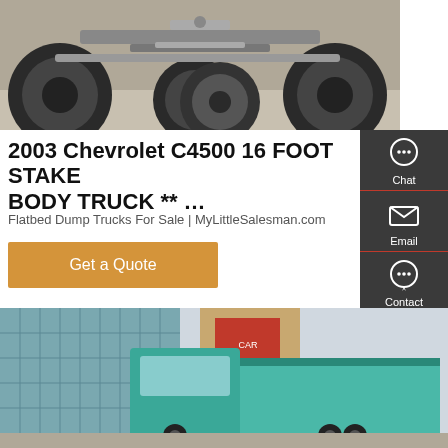[Figure (photo): Underside/undercarriage view of a Chevrolet C4500 truck, showing axle, tires, and mechanical components from below]
2003 Chevrolet C4500 16 FOOT STAKE BODY TRUCK ** ...
Flatbed Dump Trucks For Sale | MyLittleSalesman.com
[Figure (infographic): Side panel with dark background containing Chat, Email, Contact, and Top navigation icons in white on a dark gray panel]
[Figure (photo): Teal/turquoise colored dump truck parked in front of a glass building]